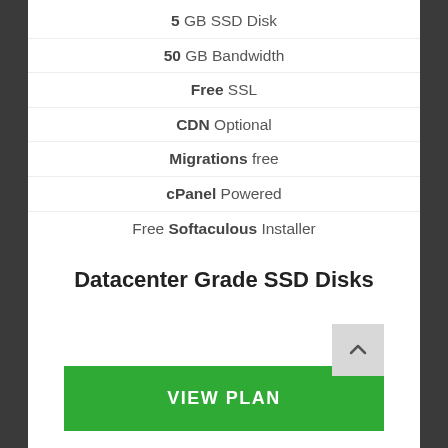5 GB SSD Disk
50 GB Bandwidth
Free SSL
CDN Optional
Migrations free
cPanel Powered
Free Softaculous Installer
Datacenter Grade SSD Disks
VIEW PLAN